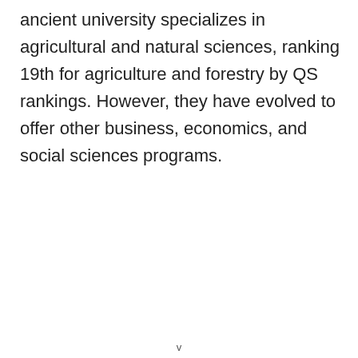ancient university specializes in agricultural and natural sciences, ranking 19th for agriculture and forestry by QS rankings. However, they have evolved to offer other business, economics, and social sciences programs.
v